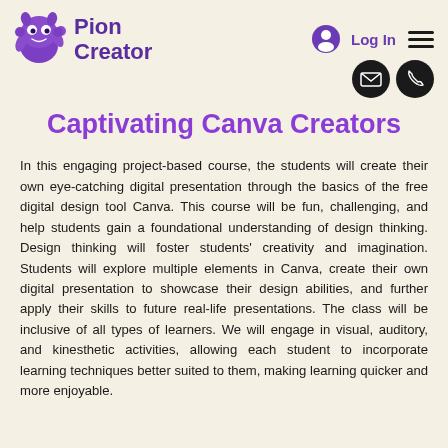Pion Creator
Captivating Canva Creators
In this engaging project-based course, the students will create their own eye-catching digital presentation through the basics of the free digital design tool Canva. This course will be fun, challenging, and help students gain a foundational understanding of design thinking. Design thinking will foster students' creativity and imagination. Students will explore multiple elements in Canva, create their own digital presentation to showcase their design abilities, and further apply their skills to future real-life presentations. The class will be inclusive of all types of learners. We will engage in visual, auditory, and kinesthetic activities, allowing each student to incorporate learning techniques better suited to them, making learning quicker and more enjoyable.